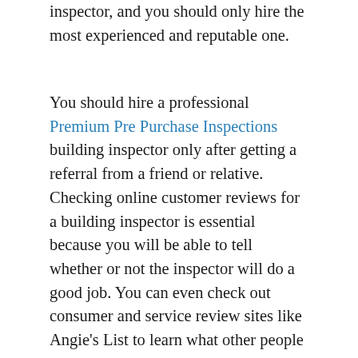inspector, and you should only hire the most experienced and reputable one.
You should hire a professional Premium Pre Purchase Inspections building inspector only after getting a referral from a friend or relative. Checking online customer reviews for a building inspector is essential because you will be able to tell whether or not the inspector will do a good job. You can even check out consumer and service review sites like Angie's List to learn what other people say about a certain building inspector. It is important to meet three inspectors and choose the best one for your needs.
It is essential to hire a building inspector familiar with your area. A building inspector's knowledge of all structure areas is important for a homeowner. They can identify leaks of air, water, or plumbing. They should be able to record all of the inspection results accurately. In addition, the inspector should be thorough in their reports. A building inspector should also communicate with the homeowner and answer any questions